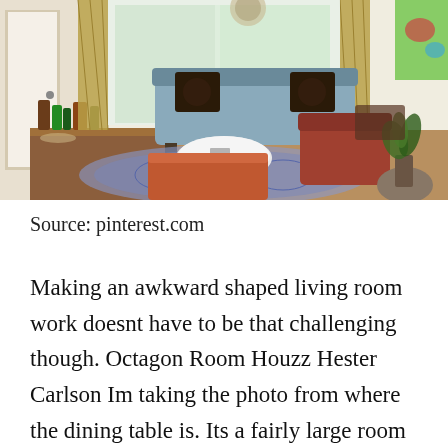[Figure (photo): Interior photo of a living room with a blue/grey sofa with patterned pillows, golden curtains, a round white coffee table, an orange ottoman/armchair, a patterned area rug, a wooden sideboard with bottles on the left, and a red/brown armchair on the right with a plant and artwork visible.]
Source: pinterest.com
Making an awkward shaped living room work doesnt have to be that challenging though. Octagon Room Houzz Hester Carlson Im taking the photo from where the dining table is. Its a fairly large room with a